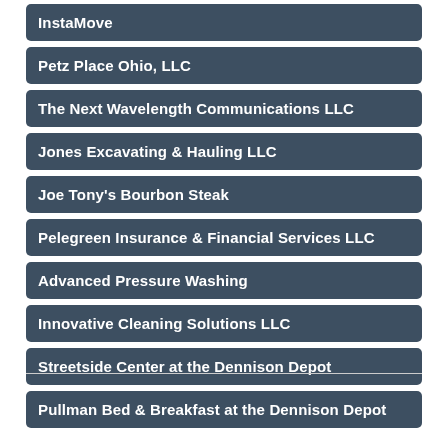InstaMove
Petz Place Ohio, LLC
The Next Wavelength Communications LLC
Jones Excavating & Hauling LLC
Joe Tony's Bourbon Steak
Pelegreen Insurance & Financial Services LLC
Advanced Pressure Washing
Innovative Cleaning Solutions LLC
Streetside Center at the Dennison Depot
Pullman Bed & Breakfast at the Dennison Depot